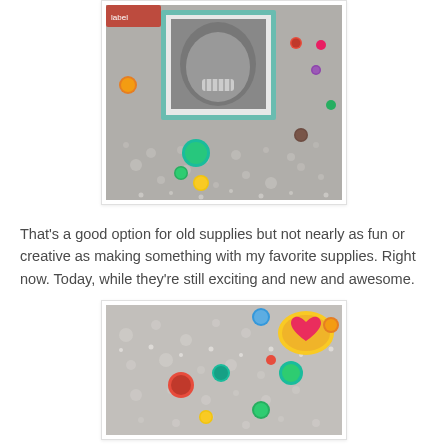[Figure (photo): Close-up photo of a scrapbook layout with colorful enamel dots/gems scattered on a gray surface, with a framed black-and-white photo of a child laughing in a teal/green frame, and an orange/red label partially visible at the top.]
That's a good option for old supplies but not nearly as fun or creative as making something with my favorite supplies. Right now. Today, while they're still exciting and new and awesome.
[Figure (photo): Close-up photo of colorful enamel dots/gems scattered on a light gray surface with water droplet textures, including a large yellow heart button/gem in the upper right corner.]